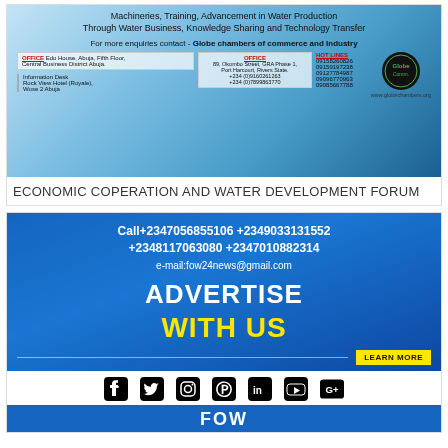[Figure (infographic): Globe Chambers of Commerce and Industry advertisement banner for Economic Cooperation and Water Development Forum. Shows office addresses, hotline numbers, logo, and website www.globechambers.org]
ECONOMIC COPERATION AND WATER DEVELOPMENT FORUM
[Figure (infographic): Blue advertisement banner: Call+2347056855106 +2349033131552 +2348117063080 +2347010882314, e-mail:fow24news@gmail.com, ADVERTISE WITH US, LEARN MORE button]
[Figure (infographic): Social media icons row: Facebook, Twitter, Instagram, Pinterest, LinkedIn, YouTube, Google+]
[Figure (infographic): Blue strip with FOW text]